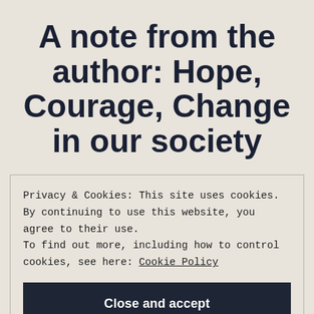A note from the author: Hope, Courage, Change in our society
Privacy & Cookies: This site uses cookies. By continuing to use this website, you agree to their use. To find out more, including how to control cookies, see here: Cookie Policy
Close and accept